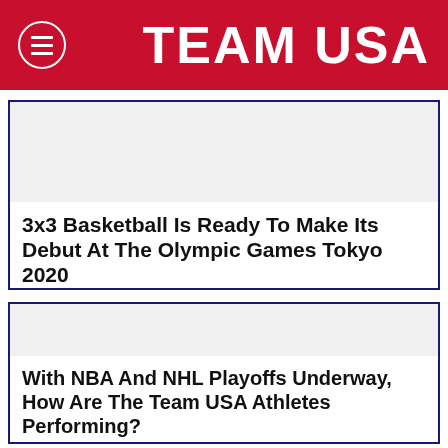TEAM USA
3x3 Basketball Is Ready To Make Its Debut At The Olympic Games Tokyo 2020
With NBA And NHL Playoffs Underway, How Are The Team USA Athletes Performing?